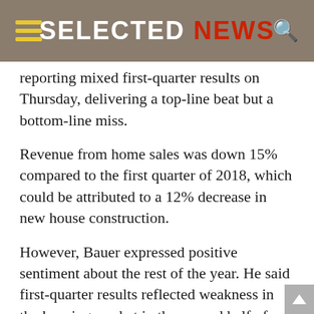SELECTED NEWS
reporting mixed first-quarter results on Thursday, delivering a top-line beat but a bottom-line miss.
Revenue from home sales was down 15% compared to the first quarter of 2018, which could be attributed to a 12% decrease in new house construction.
However, Bauer expressed positive sentiment about the rest of the year. He said first-quarter results reflected weakness in the housing market in the second half of 2018 when the SPDR S&P Homebuilders ETF slumped nearly 20%.
“We’ve got about a 23% margin in our backlog, and we’ve got a good runway for the rest of the